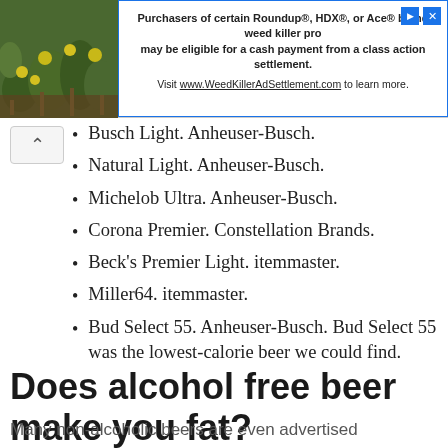[Figure (other): Advertisement banner: photo of yellow flowers on the left, text promoting Roundup/HDX/Ace weed killer class action settlement on the right]
Busch Light. Anheuser-Busch.
Natural Light. Anheuser-Busch.
Michelob Ultra. Anheuser-Busch.
Corona Premier. Constellation Brands.
Beck's Premier Light. itemmaster.
Miller64. itemmaster.
Bud Select 55. Anheuser-Busch. Bud Select 55 was the lowest-calorie beer we could find.
Does alcohol free beer make you fat?
Many non-alcoholic beers are even advertised